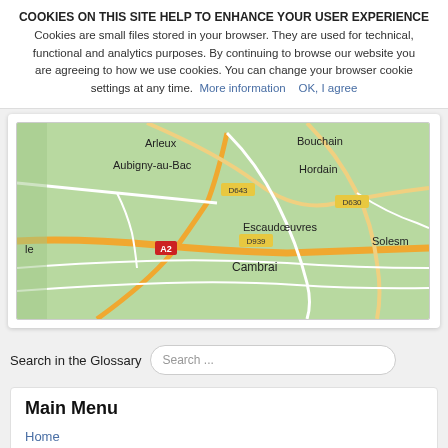COOKIES ON THIS SITE HELP TO ENHANCE YOUR USER EXPERIENCE Cookies are small files stored in your browser. They are used for technical, functional and analytics purposes. By continuing to browse our website you are agreeing to how we use cookies. You can change your browser cookie settings at any time. More information   OK, I agree
[Figure (map): Street map showing the area around Cambrai, France, including places such as Arleux, Aubigny-au-Bac, Bouchain, Hordain, Escaudoeuvres, Solesm, and road labels D643, D939, D630, A2.]
Search in the Glossary  Search ...
Main Menu
Home
Address lists